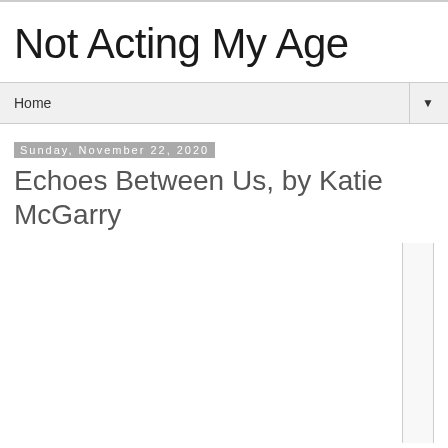Not Acting My Age
Home
Sunday, November 22, 2020
Echoes Between Us, by Katie McGarry
[Figure (other): Partial book cover image placeholder — vertical strip of a book cover, mostly white/light colored]